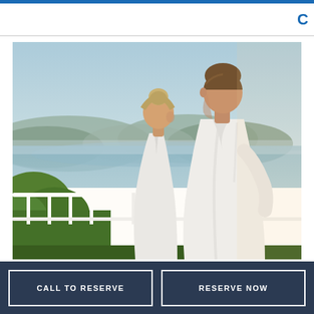C
[Figure (photo): A couple in white bathrobes standing on a balcony with a scenic view of mountains, water, and sky behind them. Green trees visible in foreground below the railing.]
CALL TO RESERVE
RESERVE NOW